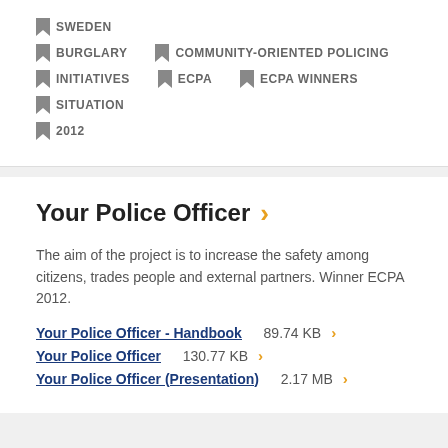SWEDEN
BURGLARY   COMMUNITY-ORIENTED POLICING
INITIATIVES   ECPA   ECPA WINNERS
SITUATION
2012
Your Police Officer ›
The aim of the project is to increase the safety among citizens, trades people and external partners. Winner ECPA 2012.
Your Police Officer - Handbook   89.74 KB  ›
Your Police Officer   130.77 KB  ›
Your Police Officer (Presentation)   2.17 MB  ›